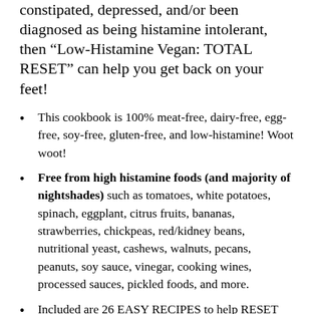constipated, depressed, and/or been diagnosed as being histamine intolerant, then “Low-Histamine Vegan: TOTAL RESET” can help you get back on your feet!
This cookbook is 100% meat-free, dairy-free, egg-free, soy-free, gluten-free, and low-histamine! Woot woot!
Free from high histamine foods (and majority of nightshades) such as tomatoes, white potatoes, spinach, eggplant, citrus fruits, bananas, strawberries, chickpeas, red/kidney beans, nutritional yeast, cashews, walnuts, pecans, peanuts, soy sauce, vinegar, cooking wines, processed sauces, pickled foods, and more.
Included are 26 EASY RECIPES to help RESET your